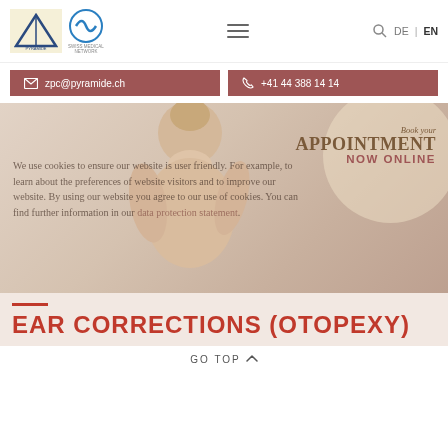[Figure (logo): Pyramide clinic logo (triangle shape on light yellow background) and Swiss Medical Network logo]
DE | EN
zpc@pyramide.ch
+41 44 388 14 14
[Figure (photo): Woman with blonde hair up, bare shoulders, viewed from behind/side against light background. Appointment booking badge reads 'Book your APPOINTMENT NOW ONLINE'. Cookie consent overlay text visible.]
We use cookies to ensure our website is user friendly. For example, to learn about the preferences of website visitors and to improve our website. By using our website you agree to our use of cookies. You can find further information in our data protection statement.
EAR CORRECTIONS (OTOPEXY)
GO TOP ^